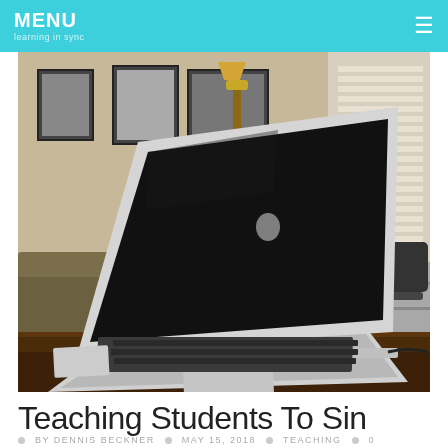MENU
[Figure (photo): A MacBook Air laptop open on a dark wooden table in a living room setting, with framed pictures on the wall in the background and a floor lamp. The laptop screen is black/off.]
Teaching Students To Sin
BY DENNIS BECKNER  MAY 15, 2018  TEACHING  0